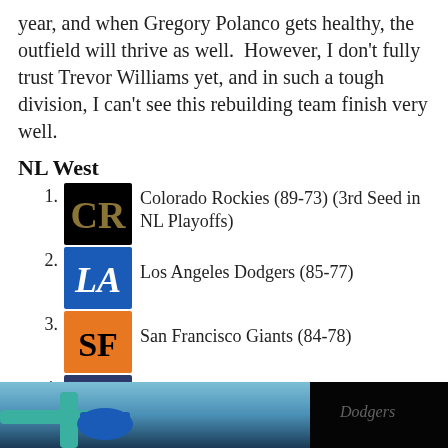year, and when Gregory Polanco gets healthy, the outfield will thrive as well. However, I don't fully trust Trevor Williams yet, and in such a tough division, I can't see this rebuilding team finish very well.
NL West
1. Colorado Rockies (89-73) (3rd Seed in NL Playoffs)
2. Los Angeles Dodgers (85-77)
3. San Francisco Giants (84-78)
4. San Diego Padres (71-91)
5. Arizona Diamondbacks (68-94)
[Figure (photo): Photo of a baseball scene, appears to show Dodgers dugout area with player in blue hat]